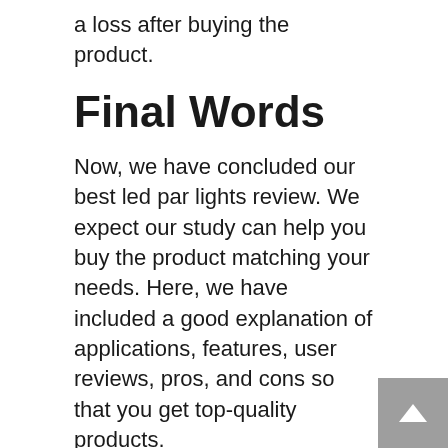a loss after buying the product.
Final Words
Now, we have concluded our best led par lights review. We expect our study can help you buy the product matching your needs. Here, we have included a good explanation of applications, features, user reviews, pros, and cons so that you get top-quality products.
Please, feel free to share what product has caught your eye. We hope you will buy any of our selected items as we have already proved why they are best. Indeed, buyers are craving to buy them. Spending time on